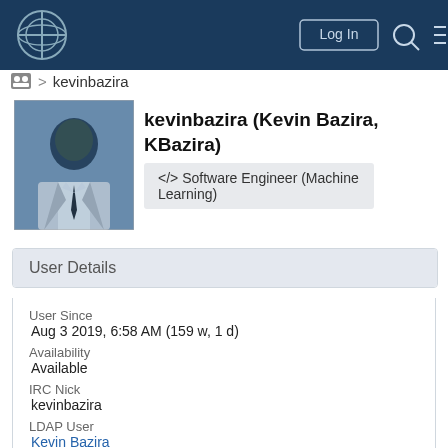[Figure (screenshot): Navigation bar with Wikimedia logo, Log In button, search icon, and menu icon on dark blue background]
👥 > kevinbazira
[Figure (photo): Profile photo of Kevin Bazira, a man in a dark suit against a blue-tinted background]
kevinbazira (Kevin Bazira, KBazira)
</> Software Engineer (Machine Learning)
User Details
User Since
Aug 3 2019, 6:58 AM (159 w, 1 d)
Availability
Available
IRC Nick
kevinbazira
LDAP User
Kevin Bazira
MediaWiki User